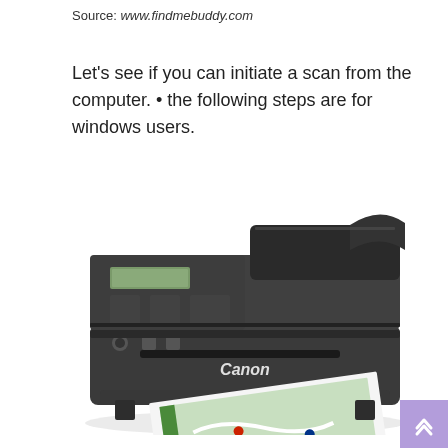Source: www.findmebuddy.com
Let's see if you can initiate a scan from the computer. • the following steps are for windows users.
[Figure (photo): Canon MX series all-in-one inkjet printer in black, shown from the front with a printed color document (map/chart) partially ejected from the paper output tray. The printer has a control panel on the left with buttons and a small LCD display, and an automatic document feeder on top.]